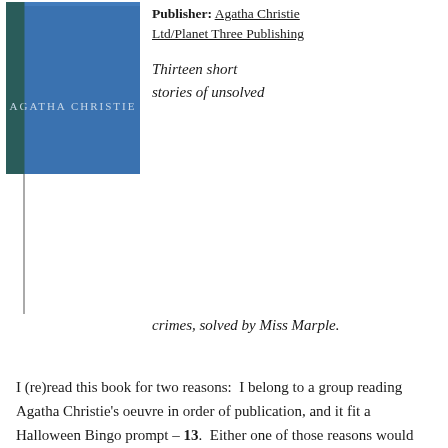[Figure (photo): Blue book cover with 'AGATHA CHRISTIE' text in silver lettering on a teal/dark spine stripe on the left and blue cover]
Publisher: Agatha Christie Ltd/Planet Three Publishing
Thirteen short stories of unsolved crimes, solved by Miss Marple.
I (re)read this book for two reasons:  I belong to a group reading Agatha Christie's oeuvre in order of publication, and it fit a Halloween Bingo prompt – 13.  Either one of those reasons would have been a good enough excuse to read this charming little collection of Miss Marple showing everyone up.
13 short stories: the first 6 of which share a common tie of being stories told at the Tuesday Night Club, an